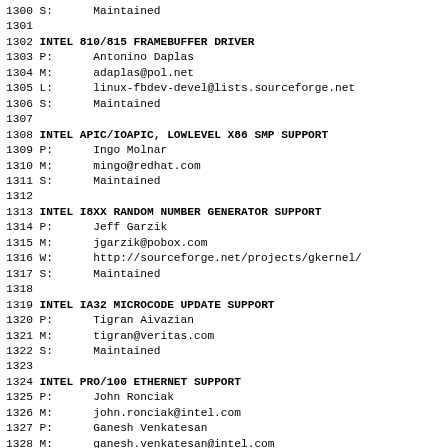1300 S:      Maintained
1301
1302 INTEL 810/815 FRAMEBUFFER DRIVER
1303 P:      Antonino Daplas
1304 M:      adaplas@pol.net
1305 L:      linux-fbdev-devel@lists.sourceforge.net
1306 S:      Maintained
1307
1308 INTEL APIC/IOAPIC, LOWLEVEL X86 SMP SUPPORT
1309 P:      Ingo Molnar
1310 M:      mingo@redhat.com
1311 S:      Maintained
1312
1313 INTEL I8XX RANDOM NUMBER GENERATOR SUPPORT
1314 P:      Jeff Garzik
1315 M:      jgarzik@pobox.com
1316 W:      http://sourceforge.net/projects/gkernel/
1317 S:      Maintained
1318
1319 INTEL IA32 MICROCODE UPDATE SUPPORT
1320 P:      Tigran Aivazian
1321 M:      tigran@veritas.com
1322 S:      Maintained
1323
1324 INTEL PRO/100 ETHERNET SUPPORT
1325 P:      John Ronciak
1326 M:      john.ronciak@intel.com
1327 P:      Ganesh Venkatesan
1328 M:      ganesh.venkatesan@intel.com
1329 P:      Jesse Brandeburg
1330 M:      jesse.brandeburg@intel.com
1331 W:      http://sourceforge.net/projects/e1000/